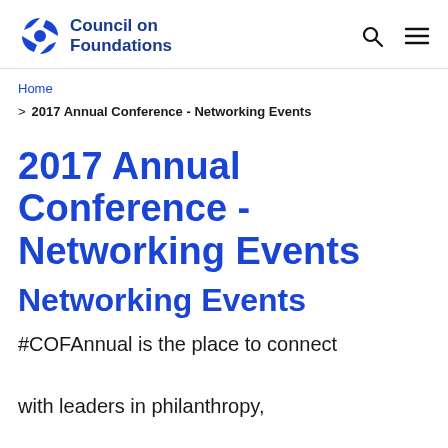Council on Foundations
Home > 2017 Annual Conference - Networking Events
2017 Annual Conference - Networking Events
Networking Events
#COFAnnual is the place to connect with leaders in philanthropy, government, and other sectors – and